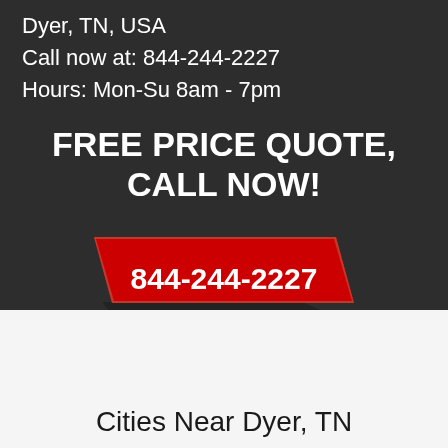Dyer, TN, USA
Call now at: 844-244-2227
Hours: Mon-Su 8am - 7pm
FREE PRICE QUOTE, CALL NOW!
[Figure (infographic): Red parallelogram-shaped button with white bold text '844-244-2227']
Cities Near Dyer, TN